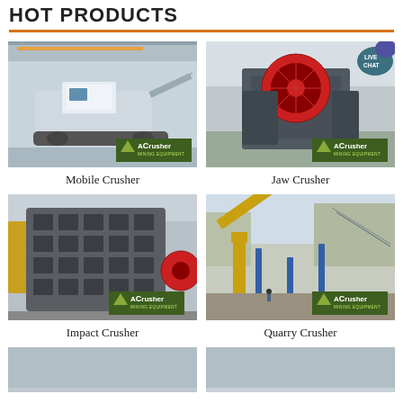HOT PRODUCTS
[Figure (photo): Mobile Crusher machine in a factory warehouse, branded ACrusher Mining Equipment]
Mobile Crusher
[Figure (photo): Jaw Crusher machine with red flywheel outdoors, branded ACrusher Mining Equipment, with Live Chat bubble]
Jaw Crusher
[Figure (photo): Impact Crusher large machine in warehouse, branded ACrusher Mining Equipment]
Impact Crusher
[Figure (photo): Quarry Crusher conveyor system at an outdoor quarry site, branded ACrusher Mining Equipment]
Quarry Crusher
[Figure (photo): Partial view of another crusher product at bottom left]
[Figure (photo): Partial view of another crusher product at bottom right]